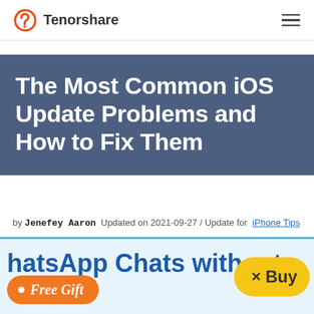Tenorshare
The Most Common iOS Update Problems and How to Fix Them
by Jenefey Aaron Updated on 2021-09-27 / Update for iPhone Tips
Can't wait to update to the latest iOS 11 to enjoy all its new features? Although it is packed with some
[Figure (screenshot): Advertisement banner for WhatsApp Chats with 'Free Gift' button in orange and 'Buy' button in yellow]